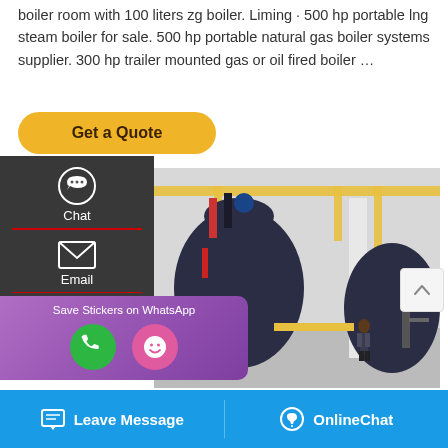boiler room with 100 liters zg boiler. Liming · 500 hp portable lng steam boiler for sale. 500 hp portable natural gas boiler systems supplier. 300 hp trailer mounted gas or oil fired boiler …
[Figure (other): Golden rounded 'Get a Quote' button]
[Figure (infographic): Left dark sidebar with chat headset icon (Chat), envelope icon (Email), and speech bubble icon (Contact), with red dividers]
[Figure (photo): Industrial boiler room with large blue boilers and yellow overhead pipework, workers visible]
[Figure (other): Scroll-up arrow button on right side]
[Figure (other): Purple WhatsApp sticker popup with phone and emoji icons labelled 'Save Stickers on WhatsApp']
[Figure (other): Blue bottom bar with 'Leave Message' (chat icon) on left and 'OnlineChat' (headset icon) on right]